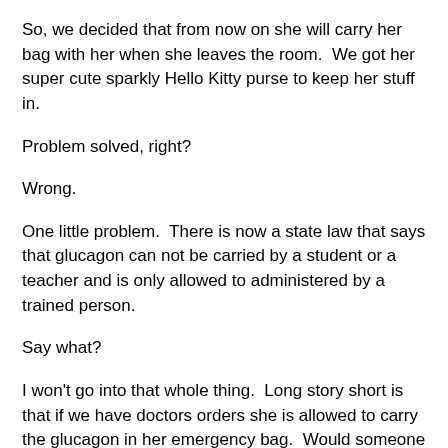So, we decided that from now on she will carry her bag with her when she leaves the room.  We got her super cute sparkly Hello Kitty purse to keep her stuff in.
Problem solved, right?
Wrong.
One little problem.  There is now a state law that says that glucagon can not be carried by a student or a teacher and is only allowed to administered by a trained person.
Say what?
I won't go into that whole thing.  Long story short is that if we have doctors orders she is allowed to carry the glucagon in her emergency bag.  Would someone actually use it?  Maybe not.  But at least it's there.
So now the problem is solved, right?